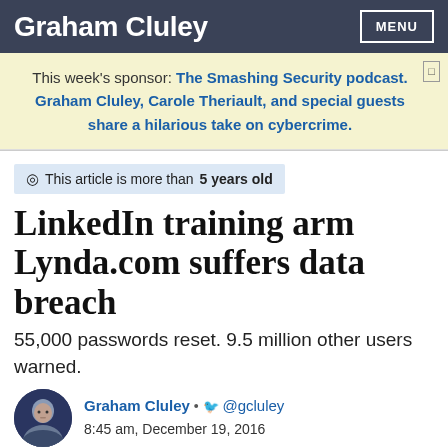Graham Cluley
This week's sponsor: The Smashing Security podcast. Graham Cluley, Carole Theriault, and special guests share a hilarious take on cybercrime.
This article is more than 5 years old
LinkedIn training arm Lynda.com suffers data breach
55,000 passwords reset. 9.5 million other users warned.
Graham Cluley • @gcluley
8:45 am, December 19, 2016